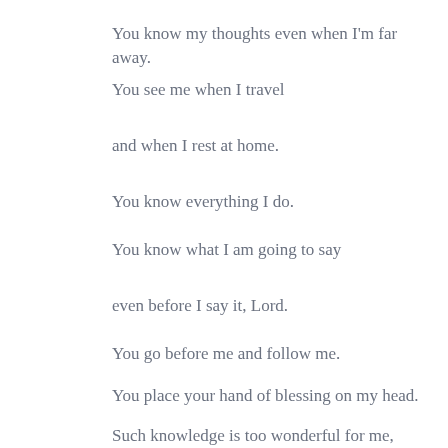You know my thoughts even when I'm far away.
You see me when I travel
and when I rest at home.
You know everything I do.
You know what I am going to say
even before I say it, Lord.
You go before me and follow me.
You place your hand of blessing on my head.
Such knowledge is too wonderful for me,